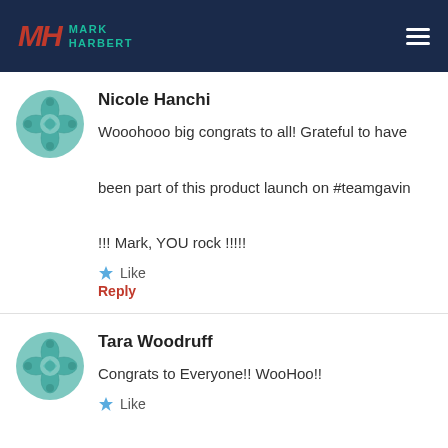MH MARK HARBERT
Nicole Hanchi
Wooohooo big congrats to all! Grateful to have been part of this product launch on #teamgavin !!! Mark, YOU rock !!!!!
Like
Reply
Tara Woodruff
Congrats to Everyone!! WooHoo!!
Like